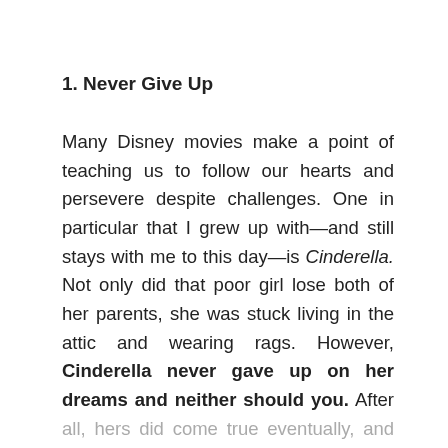1. Never Give Up
Many Disney movies make a point of teaching us to follow our hearts and persevere despite challenges. One in particular that I grew up with—and still stays with me to this day—is Cinderella. Not only did that poor girl lose both of her parents, she was stuck living in the attic and wearing rags. However, Cinderella never gave up on her dreams and neither should you. After all, hers did come true eventually, and yours very well might too.